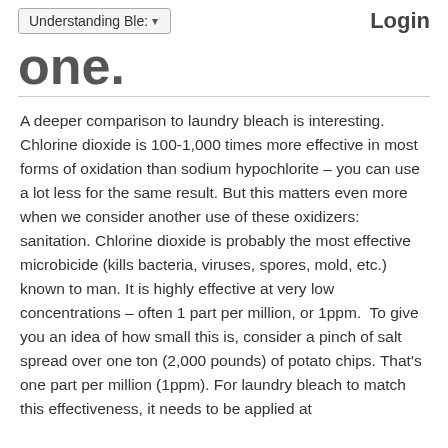Understanding Ble: ▾   Login
one.
A deeper comparison to laundry bleach is interesting. Chlorine dioxide is 100-1,000 times more effective in most forms of oxidation than sodium hypochlorite – you can use a lot less for the same result. But this matters even more when we consider another use of these oxidizers: sanitation. Chlorine dioxide is probably the most effective microbicide (kills bacteria, viruses, spores, mold, etc.) known to man. It is highly effective at very low concentrations – often 1 part per million, or 1ppm.  To give you an idea of how small this is, consider a pinch of salt spread over one ton (2,000 pounds) of potato chips. That's one part per million (1ppm). For laundry bleach to match this effectiveness, it needs to be applied at